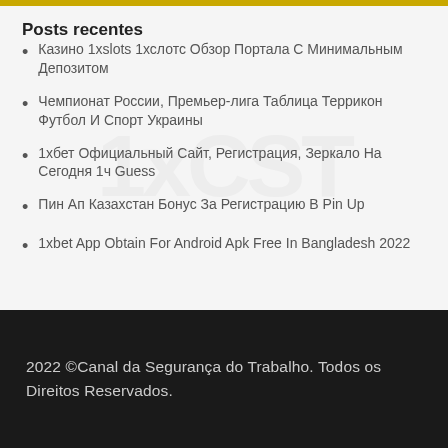Posts recentes
Казино 1xslots 1хслотс Обзор Портала С Минимальным Депозитом
Чемпионат России, Премьер-лига Таблица Террикон Футбол И Спорт Украины
1хбет Официальный Сайт, Регистрация, Зеркало На Сегодня 1ч Guess
Пин Ап Казахстан Бонус За Регистрацию В Pin Up
1xbet App Obtain For Android Apk Free In Bangladesh 2022
2022 ©Canal da Segurança do Trabalho. Todos os Direitos Reservados.